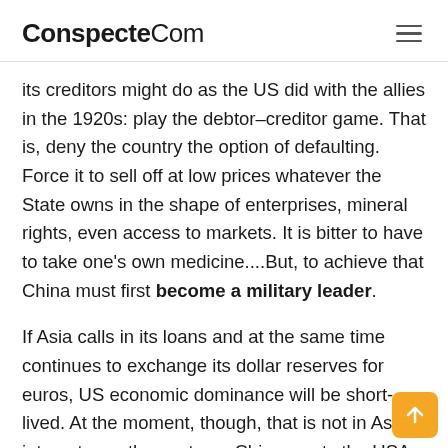ConspecteCom
its creditors might do as the US did with the allies in the 1920s: play the debtor–creditor game. That is, deny the country the option of defaulting. Force it to sell off at low prices whatever the State owns in the shape of enterprises, mineral rights, even access to markets. It is bitter to have to take one's own medicine....But, to achieve that China must first become a military leader.
If Asia calls in its loans and at the same time continues to exchange its dollar reserves for euros, US economic dominance will be short-lived. At the moment, though, that is not in Asia's interests; on the contrary. China wants the USA to survive, if not to excel. There is also always a problem being a too large creditor...then the debitor comes in a positio